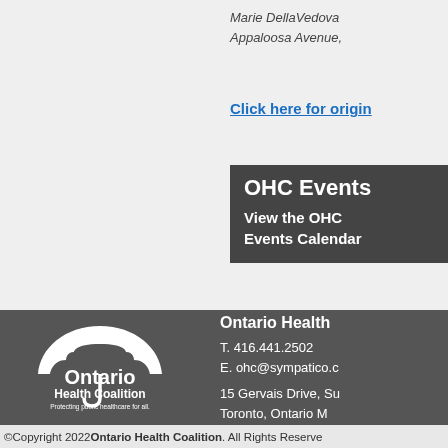Marie DellaVedova
Appaloosa Avenue,
Click here for origin
OHC Events
View the OHC Events Calendar
[Figure (logo): Ontario Health Coalition umbrella logo with text 'Ontario Health Coalition — Protecting public healthcare for all.']
Ontario Health
T. 416.441.2502
E. ohc@sympatico.c

15 Gervais Drive, Su
Toronto, Ontario M
©Copyright 2022 Ontario Health Coalition. All Rights Reserve